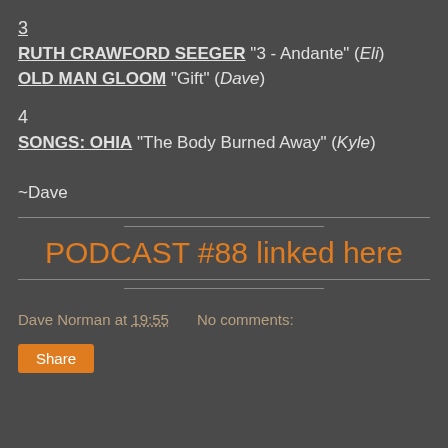3
RUTH CRAWFORD SEEGER "3 - Andante" (Eli)
OLD MAN GLOOM "Gift" (Dave)
4
SONGS: OHIA "The Body Burned Away" (Kyle)
~Dave
PODCAST #88 linked here
Dave Norman at 19:55   No comments: